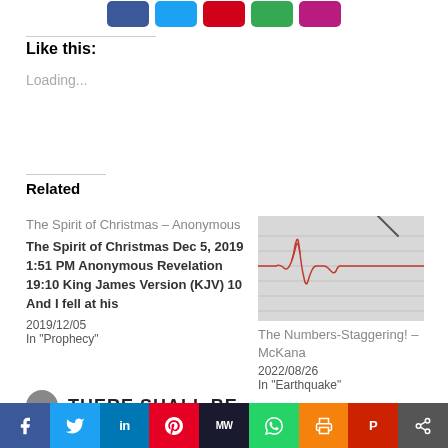[Figure (other): Row of social share icon buttons (Facebook blue, Twitter blue, Email red, Google/Greenmail green, pink/purple button) at top of page]
Like this:
Loading...
Related
The Spirit of Christmas – Anonymous
The Spirit of Christmas Dec 5, 2019 1:51 PM Anonymous Revelation 19:10 King James Version (KJV) 10 And I fell at his
2019/12/05
In "Prophecy"
[Figure (photo): Seismograph reading showing red earthquake waveform lines on white graph paper with a metal stylus]
The Numbers-Staggering! – McKana
2022/08/26
In "Earthquake"
THERE SHALL BE
[Figure (other): Social media share bar at bottom: Facebook, Twitter, LinkedIn, Pinterest, MeWe, WhatsApp, Print, Parler, Share buttons]